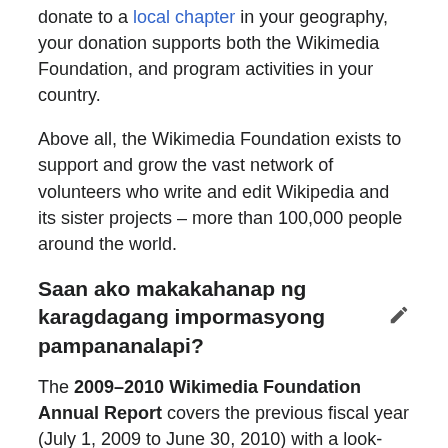donate to a local chapter in your geography, your donation supports both the Wikimedia Foundation, and program activities in your country.
Above all, the Wikimedia Foundation exists to support and grow the vast network of volunteers who write and edit Wikipedia and its sister projects – more than 100,000 people around the world.
Saan ako makakahanap ng karagdagang impormasyong pampananalapi?
The 2009–2010 Wikimedia Foundation Annual Report covers the previous fiscal year (July 1, 2009 to June 30, 2010) with a look-ahead to the next. This is our third annual report. The Wikimedia Foundation Annual Report is a summary of the organization's financials, program activities, milestones and accomplishments.